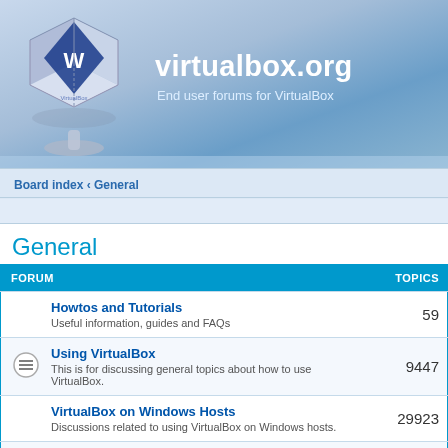[Figure (logo): VirtualBox cube logo with white/blue cube and monitor base]
virtualbox.org
End user forums for VirtualBox
Board index · General
General
| FORUM | TOPICS |
| --- | --- |
| Howtos and Tutorials
Useful information, guides and FAQs | 59 |
| Using VirtualBox
This is for discussing general topics about how to use VirtualBox. | 9447 |
| VirtualBox on Windows Hosts
Discussions related to using VirtualBox on Windows hosts. | 29923 |
| VirtualBox on Linux Hosts
Discussions related to using VirtualBox on Linux hosts. | 18640 |
| VirtualBox on Mac OS X Hosts
Discussions related to using VirtualBox on Mac OS X hosts. | 9205 |